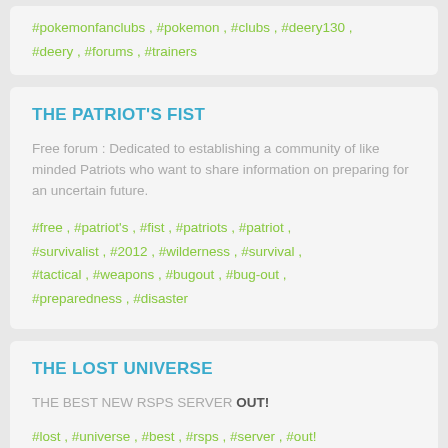#pokemonfanclubs , #pokemon , #clubs , #deery130 , #deery , #forums , #trainers
THE PATRIOT'S FIST
Free forum : Dedicated to establishing a community of like minded Patriots who want to share information on preparing for an uncertain future.
#free , #patriot's , #fist , #patriots , #patriot , #survivalist , #2012 , #wilderness , #survival , #tactical , #weapons , #bugout , #bug-out , #preparedness , #disaster
THE LOST UNIVERSE
THE BEST NEW RSPS SERVER OUT!
#lost , #universe , #best , #rsps , #server , #out!